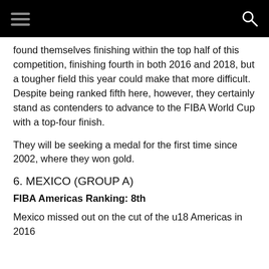found themselves finishing within the top half of this competition, finishing fourth in both 2016 and 2018, but a tougher field this year could make that more difficult. Despite being ranked fifth here, however, they certainly stand as contenders to advance to the FIBA World Cup with a top-four finish.
They will be seeking a medal for the first time since 2002, where they won gold.
6. MEXICO (GROUP A)
FIBA Americas Ranking: 8th
Mexico missed out on the cut of the u18 Americas in 2016